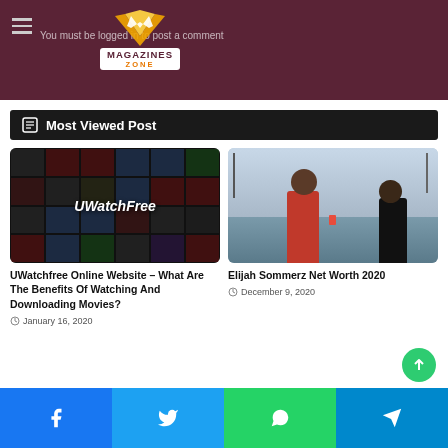Magazines Zone - You must be logged in to post a comment
Most Viewed Post
[Figure (photo): UWatchFree website promotional collage with movie posters and the UWatchFree logo text]
UWatchfree Online Website – What Are The Benefits Of Watching And Downloading Movies?
January 16, 2020
[Figure (photo): Elijah Sommerz outdoor photo wearing red jacket, holding a cup, with another person, winter trees in background]
Elijah Sommerz Net Worth 2020
December 9, 2020